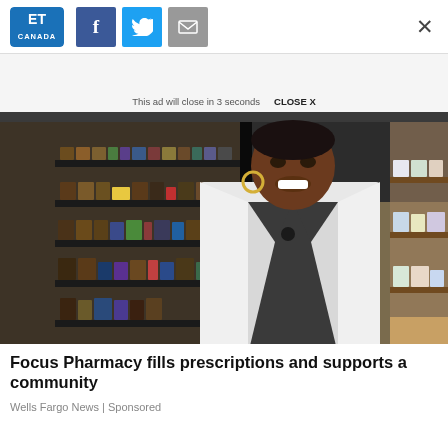ET Canada | Facebook share | Twitter share | Email share | Close
This ad will close in 3 seconds   CLOSE X
[Figure (photo): A pharmacist wearing a white lab coat stands smiling in a pharmacy store aisle with shelves of supplements and health products behind her.]
Focus Pharmacy fills prescriptions and supports a community
Wells Fargo News | Sponsored